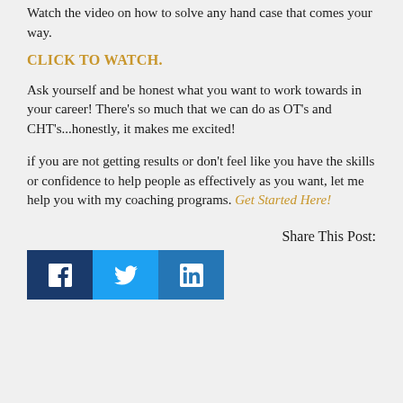Watch the video on how to solve any hand case that comes your way.
CLICK TO WATCH.
Ask yourself and be honest what you want to work towards in your career! There's so much that we can do as OT's and CHT's...honestly, it makes me excited!
if you are not getting results or don't feel like you have the skills or confidence to help people as effectively as you want, let me help you with my coaching programs. Get Started Here!
Share This Post:
[Figure (other): Social share buttons: Facebook (dark blue), Twitter (light blue), LinkedIn (blue)]